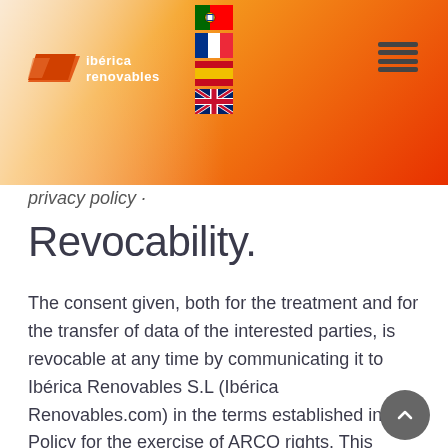[Figure (logo): Ibérica Renovables logo with orange parallelogram shape and white text on orange gradient header background, with Portuguese, French, Spanish, and UK flag icons and hamburger menu]
privacy policy ·
Revocability.
The consent given, both for the treatment and for the transfer of data of the interested parties, is revocable at any time by communicating it to Ibérica Renovables S.L (Ibérica Renovables.com) in the terms established in this Policy for the exercise of ARCO rights. This revocation will not be retroactive in any case.
Changes in the